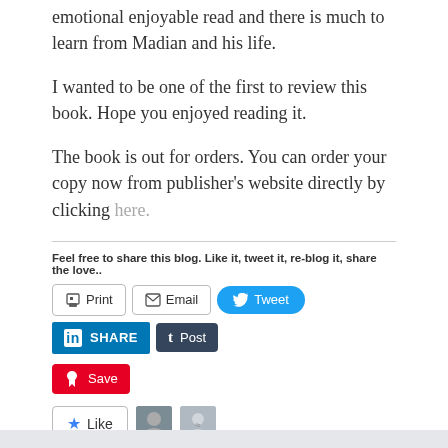emotional enjoyable read and there is much to learn from Madian and his life.
I wanted to be one of the first to review this book. Hope you enjoyed reading it.
The book is out for orders. You can order your copy now from publisher's website directly by clicking here.
Feel free to share this blog. Like it, tweet it, re-blog it, share the love..
[Figure (screenshot): Social share buttons: Print, Email, Tweet, SHARE (LinkedIn), Post (Tumblr), Save (Pinterest)]
[Figure (screenshot): Like button with star icon, two blogger avatars, text: 2 bloggers like this.]